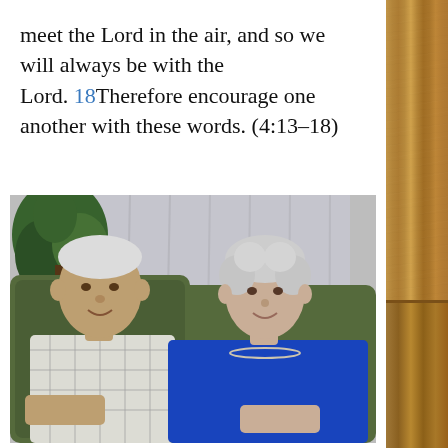meet the Lord in the air, and so we will always be with the Lord. 18Therefore encourage one another with these words. (4:13-18)
[Figure (photo): An elderly couple seated together on a sofa or couch. The man on the left has white hair and is wearing a plaid shirt. The woman on the right has curly white hair and is wearing a bright blue top with a pearl necklace. There is a green plant visible in the upper left background and white curtains behind them.]